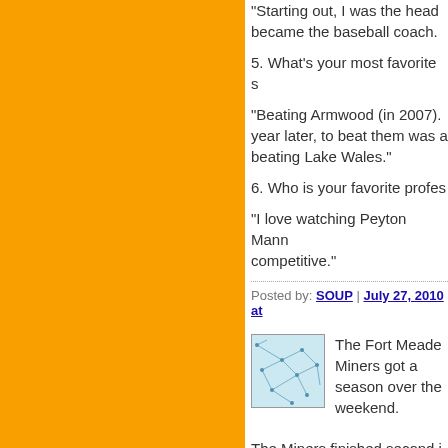"Starting out, I was the head... became the baseball coach.
5. What's your most favorite s...
"Beating Armwood (in 2007).... year later, to beat them was a... beating Lake Wales."
6. Who is your favorite profes...
"I love watching Peyton Mann... competitive."
Posted by: SOUP | July 27, 2010 at...
[Figure (illustration): Small avatar image showing a network/map-like illustration with blue lines on light background]
The Fort Meade Miners got a season over the weekend.
The Miners finished second i Tampa Jefferson, 28-18, on S school, produced victories ag Jenkins (5A), Kathleen (4A), (3A), Lake Weir (4A) and Tam
Many players stood out, acco...